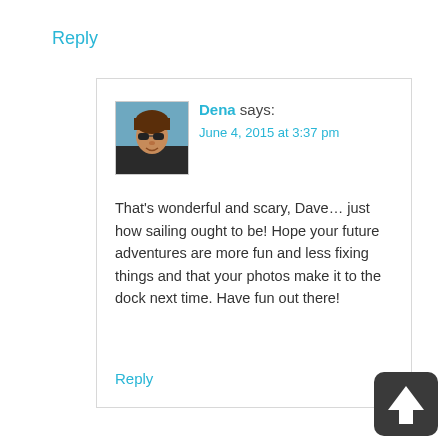Reply
[Figure (photo): Avatar photo of Dena, a woman with sunglasses and brown hair outdoors]
Dena says:
June 4, 2015 at 3:37 pm
That’s wonderful and scary, Dave… just how sailing ought to be! Hope your future adventures are more fun and less fixing things and that your photos make it to the dock next time. Have fun out there!
Reply
[Figure (other): Back to top button: dark rounded square with white upward arrow]